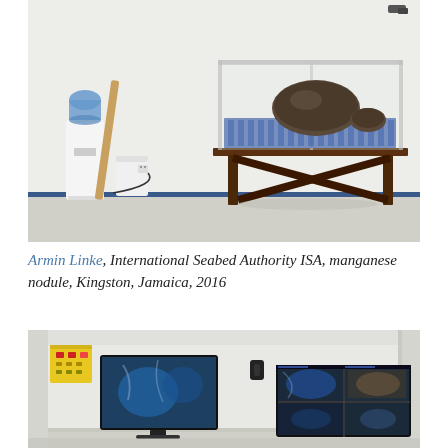[Figure (photo): Interior room with white walls. On the left, a water cooler with a blue water jug on top and a white cylindrical trash can beside it. On the right, a dark wooden table holds a glass display case containing dark rocky objects (manganese nodules) resting on a blue-patterned surface. A security camera is visible in the upper right corner.]
Armin Linke, International Seabed Authority ISA, manganese nodule, Kingston, Jamaica, 2016
[Figure (photo): Interior room with white walls showing multiple monitors. On the left wall, a yellow electrical panel with red indicators. A flat screen monitor displays underwater/blue imagery. On the right, a large wide monitor displays multiple camera feeds showing underwater scenes. A small black device is mounted on the white wall between the monitors.]